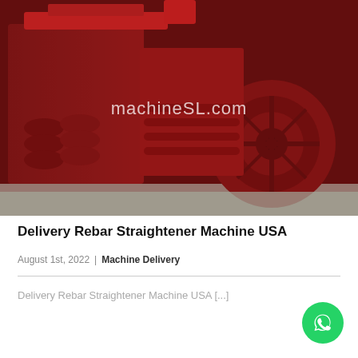[Figure (photo): Close-up photo of a red rebar straightener machine showing rollers, pulleys and mechanical components. Watermark text 'machineSL.com' overlaid in white.]
Delivery Rebar Straightener Machine USA
August 1st, 2022  |  Machine Delivery
Delivery Rebar Straightener Machine USA [...]